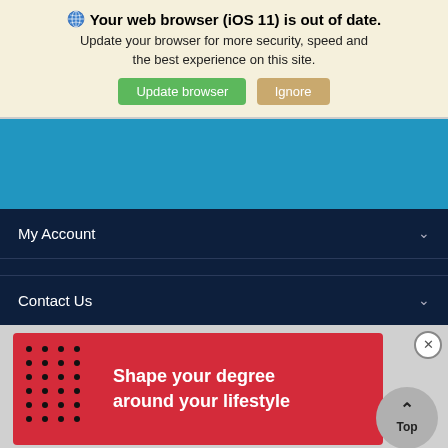Your web browser (iOS 11) is out of date. Update your browser for more security, speed and the best experience on this site.
[Figure (screenshot): Browser update warning banner with globe icon, bold title 'Your web browser (iOS 11) is out of date.', body text, and two buttons: green 'Update browser' and tan 'Ignore']
[Figure (screenshot): Blue navigation bar area (empty)]
My Account
Contact Us
[Figure (infographic): Red advertisement banner on grey background with dot pattern on left and bold white text 'Shape your degree around your lifestyle', with a grey circular 'Top' button in bottom right corner]